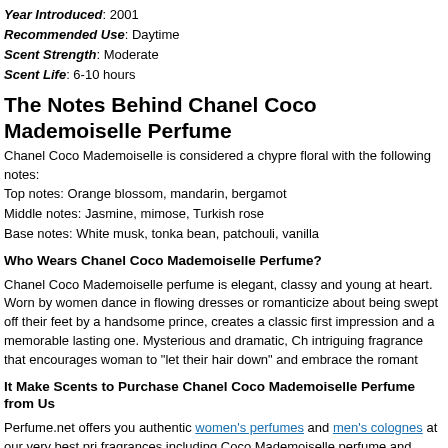Year Introduced: 2001
Recommended Use: Daytime
Scent Strength: Moderate
Scent Life: 6-10 hours
The Notes Behind Chanel Coco Mademoiselle Perfume
Chanel Coco Mademoiselle is considered a chypre floral with the following notes:
Top notes: Orange blossom, mandarin, bergamot
Middle notes: Jasmine, mimose, Turkish rose
Base notes: White musk, tonka bean, patchouli, vanilla
Who Wears Chanel Coco Mademoiselle Perfume?
Chanel Coco Mademoiselle perfume is elegant, classy and young at heart. Worn by women dance in flowing dresses or romanticize about being swept off their feet by a handsome prince, creates a classic first impression and a memorable lasting one. Mysterious and dramatic, Ch intriguing fragrance that encourages woman to "let their hair down" and embrace the romance
It Make Scents to Purchase Chanel Coco Mademoiselle Perfume from Us
Perfume.net offers you authentic women's perfumes and men's colognes at our very best price. fragrances including Coco Mademoiselle perfume and enjoy free shipping on U.S. orders of saving today.